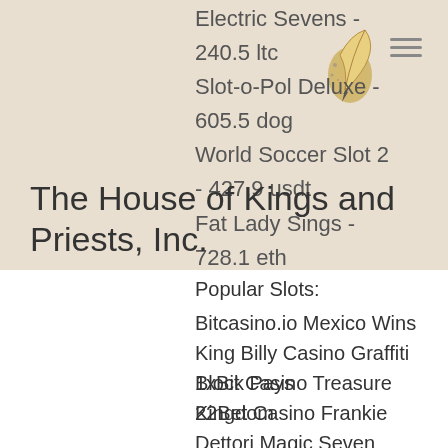Electric Sevens - 240.5 ltc
Slot-o-Pol Deluxe - 605.5 dog
World Soccer Slot 2 - 427.9 usdt
Fat Lady Sings - 728.1 eth
The House of Kings and Priests, Inc.
Popular Slots:
Bitcasino.io Mexico Wins
King Billy Casino Graffiti Block Pays
1xBit Casino Treasure Kingdom
22Bet Casino Frankie Dettori Magic Seven Jackpot
1xBit Casino Garage
BetChain Casino Lava Loca
Bitcoin Penguin Casino Heavy Metal Warriors
Betchan Casino Desert Treasure
Mars Casino Secrets of the Amazon
Cloudbet Casino Genie's Luck
Bitcasino.io True Illusions
FortuneJack Casino USSR Grosery
mBit Casino Basketball